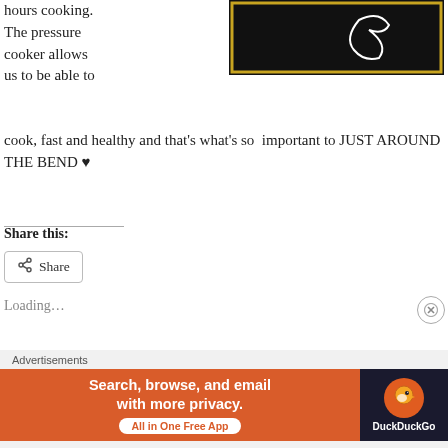hours cooking. The pressure cooker allows us to be able to cook, fast and healthy and that's what's so important to JUST AROUND THE BEND ♥
[Figure (photo): Photo of a dark/black book or box with gold border and a white symbol on the cover, partially visible at the top right of the page.]
Share this:
Share
Loading…
Advertisements
[Figure (screenshot): DuckDuckGo advertisement banner: orange left section with 'Search, browse, and email with more privacy. All in One Free App' and dark right section with DuckDuckGo logo.]